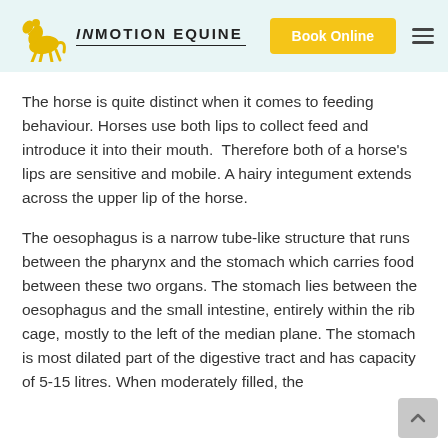InMotion Equine | Book Online
The horse is quite distinct when it comes to feeding behaviour. Horses use both lips to collect feed and introduce it into their mouth.  Therefore both of a horse's lips are sensitive and mobile. A hairy integument extends across the upper lip of the horse.
The oesophagus is a narrow tube-like structure that runs between the pharynx and the stomach which carries food between these two organs. The stomach lies between the oesophagus and the small intestine, entirely within the rib cage, mostly to the left of the median plane. The stomach is most dilated part of the digestive tract and has capacity of 5-15 litres. When moderately filled, the